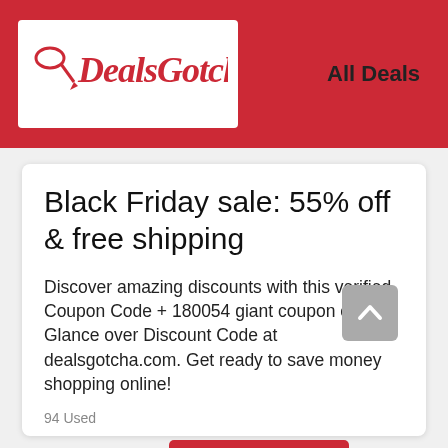[Figure (logo): DealsGotcha! logo — red cursive text on white background with a small lasso/arrow icon]
All Deals
Black Friday sale: 55% off & free shipping
Discover amazing discounts with this verified Coupon Code + 180054 giant coupon codes. Glance over Discount Code at dealsgotcha.com. Get ready to save money shopping online!
94 Used
55%Off
Get Deal